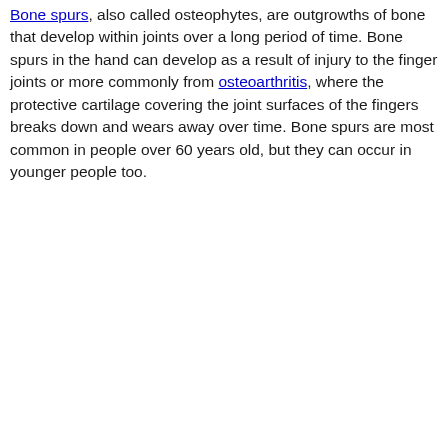Bone spurs, also called osteophytes, are outgrowths of bone that develop within joints over a long period of time. Bone spurs in the hand can develop as a result of injury to the finger joints or more commonly from osteoarthritis, where the protective cartilage covering the joint surfaces of the fingers breaks down and wears away over time. Bone spurs are most common in people over 60 years old, but they can occur in younger people too.